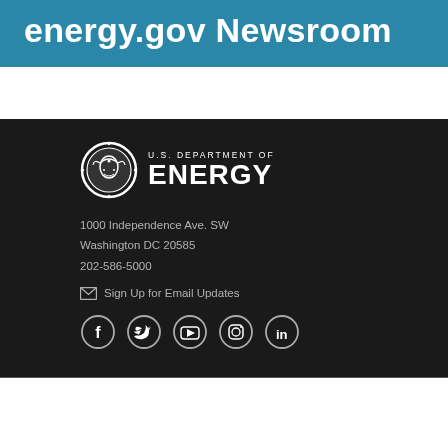energy.gov Newsroom
[Figure (logo): U.S. Department of Energy logo with circular eagle seal and text 'U.S. DEPARTMENT OF ENERGY']
1000 Independence Ave. SW
Washington DC 20585
202-586-5000
Sign Up for Email Updates
[Figure (infographic): Social media icons row: Facebook, Twitter, YouTube, Instagram, LinkedIn — all in white circles with dark outline]